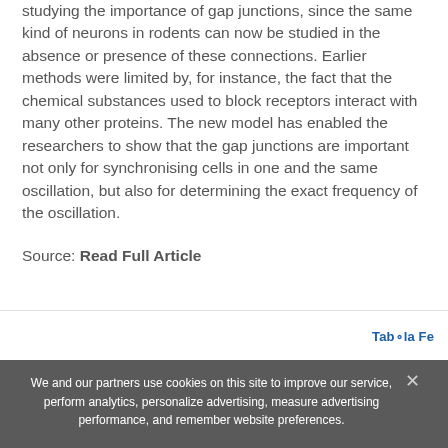studying the importance of gap junctions, since the same kind of neurons in rodents can now be studied in the absence or presence of these connections. Earlier methods were limited by, for instance, the fact that the chemical substances used to block receptors interact with many other proteins. The new model has enabled the researchers to show that the gap junctions are important not only for synchronising cells in one and the same oscillation, but also for determining the exact frequency of the oscillation.
Source: Read Full Article
[Figure (logo): Taboola Feed logo]
We and our partners use cookies on this site to improve our service, perform analytics, personalize advertising, measure advertising performance, and remember website preferences.